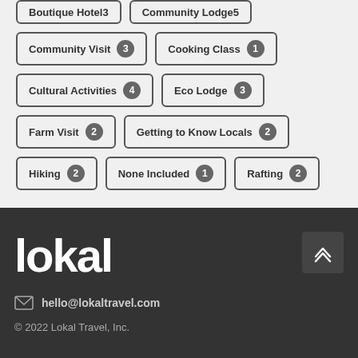Community Visit 3
Cooking Class 1
Cultural Activities 4
Eco Lodge 3
Farm Visit 2
Getting to Know Locals 2
Hiking 2
None Included 1
Rafting 2
[Figure (logo): Lokal travel logo in white on dark background]
hello@lokaltravel.com
© 2022 Lokal Travel, Inc.